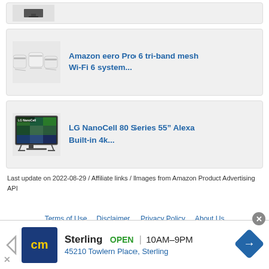[Figure (other): Partial product card at top, partially visible]
[Figure (other): Amazon eero Pro 6 tri-band mesh Wi-Fi 6 system product card with white eero device images]
[Figure (other): LG NanoCell 80 Series 55 inch Alexa Built-in 4k TV product card with TV image]
Last update on 2022-08-29 / Affiliate links / Images from Amazon Product Advertising API
Terms of Use   Disclaimer   Privacy Policy   About Us
[Figure (other): Advertisement banner: cm logo, Sterling OPEN 10AM-9PM, 45210 Towlern Place, Sterling, with navigation arrow icon]